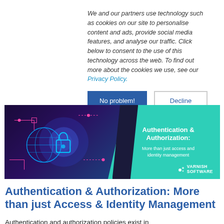We and our partners use technology such as cookies on our site to personalise content and ads, provide social media features, and analyse our traffic. Click below to consent to the use of this technology across the web. To find out more about the cookies we use, see our Privacy Policy.
No problem! | Decline
[Figure (illustration): Banner image for Authentication & Authorization article. Left side shows a dark purple/blue circuit board with glowing neon blue globe, padlock, and circuit traces. Right side has a teal diagonal panel with text: Authentication & Authorization: More than just access and identity management. Varnish Software logo in bottom right.]
Authentication & Authorization: More than just Access & Identity Management
Authentication and authorization policies exist in